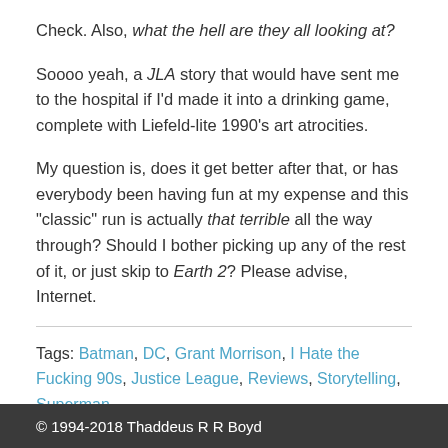Check. Also, what the hell are they all looking at?
Soooo yeah, a JLA story that would have sent me to the hospital if I'd made it into a drinking game, complete with Liefeld-lite 1990's art atrocities.
My question is, does it get better after that, or has everybody been having fun at my expense and this "classic" run is actually that terrible all the way through? Should I bother picking up any of the rest of it, or just skip to Earth 2? Please advise, Internet.
Tags: Batman, DC, Grant Morrison, I Hate the Fucking 90s, Justice League, Reviews, Storytelling, Superman
© 1994-2018 Thaddeus R R Boyd